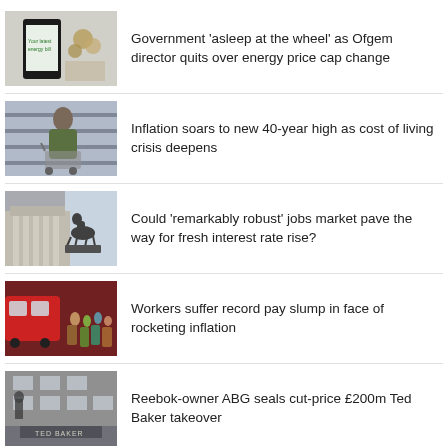[Figure (photo): Smartphone showing energy bill screen with coins in background]
Government ‘asleep at the wheel’ as Ofgem director quits over energy price cap change
[Figure (photo): Person with shopping cart in supermarket aisle]
Inflation soars to new 40-year high as cost of living crisis deepens
[Figure (photo): Bank of England building with equestrian statue]
Could ‘remarkably robust’ jobs market pave the way for fresh interest rate rise?
[Figure (photo): Crowd of workers at London Underground tube station]
Workers suffer record pay slump in face of rocketing inflation
[Figure (photo): Ted Baker store exterior]
Reebok-owner ABG seals cut-price £200m Ted Baker takeover